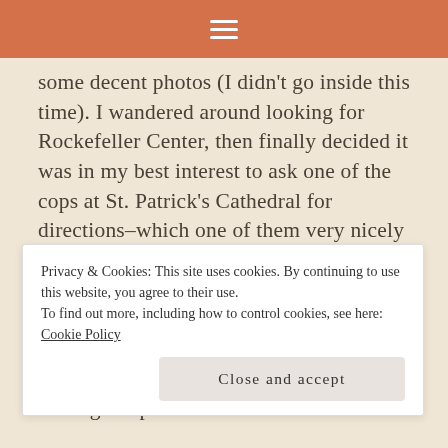≡
some decent photos (I didn't go inside this time). I wandered around looking for Rockefeller Center, then finally decided it was in my best interest to ask one of the cops at St. Patrick's Cathedral for directions–which one of them very nicely gave (he even let me know I addressed him correctly, as 'officer'). It still took me a while to find Rockefeller Center, though, and I needed to use one of the city directories. But find it I did–and got some great photos.
Privacy & Cookies: This site uses cookies. By continuing to use this website, you agree to their use.
To find out more, including how to control cookies, see here: Cookie Policy
Close and accept